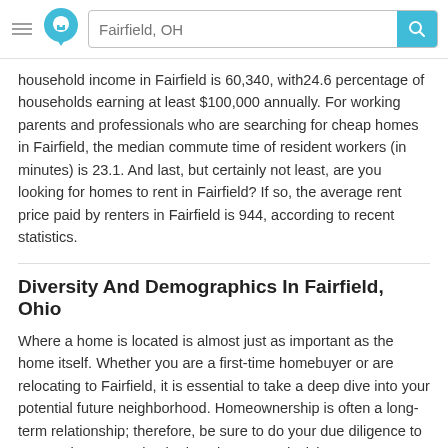Fairfield, OH
household income in Fairfield is 60,340, with24.6 percentage of households earning at least $100,000 annually. For working parents and professionals who are searching for cheap homes in Fairfield, the median commute time of resident workers (in minutes) is 23.1. And last, but certainly not least, are you looking for homes to rent in Fairfield? If so, the average rent price paid by renters in Fairfield is 944, according to recent statistics.
Diversity And Demographics In Fairfield, Ohio
Where a home is located is almost just as important as the home itself. Whether you are a first-time homebuyer or are relocating to Fairfield, it is essential to take a deep dive into your potential future neighborhood. Homeownership is often a long-term relationship; therefore, be sure to do your due diligence to ensure that you make the best long-term decision.
The median age of residents in Fairfield is 37.7, split between 47.8 percent male versus 52.2 female. The percentage of residents who report being married in Fairfield is 48.2, with